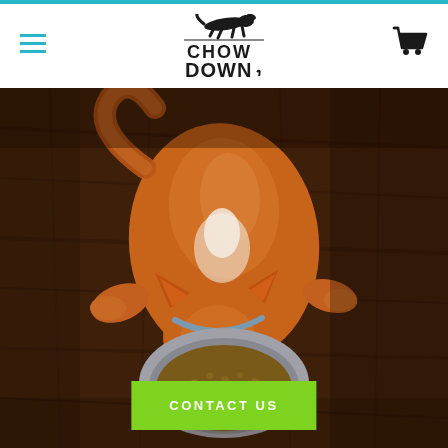Chow Down — navigation header with logo, hamburger menu, and cart icon
[Figure (photo): Overhead view of a golden/ginger cat eating dry kibble from a gray bowl on a dark wood floor, shot from above]
CONTACT US